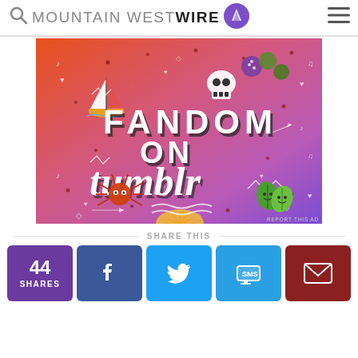MOUNTAIN WEST WIRE
[Figure (illustration): Colorful Tumblr 'Fandom on Tumblr' promotional illustration with gradient background (orange to purple), featuring doodles of a sailboat, skull, dice, spider, leaves, and the text FANDOM ON tumblr in bold white and black letters.]
REPORT THIS AD
SHARE THIS
[Figure (screenshot): Social share buttons row: 44 SHARES (purple), Facebook (blue), Twitter (light blue), SMS (blue), Email (dark red)]